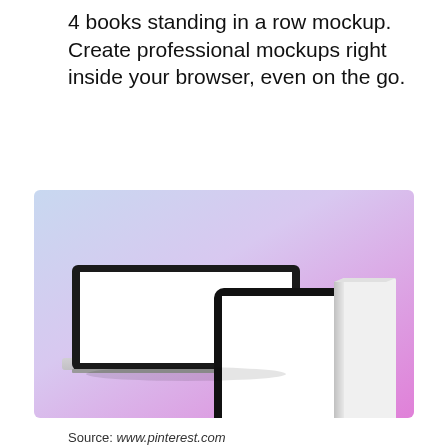4 books standing in a row mockup. Create professional mockups right inside your browser, even on the go.
[Figure (illustration): A product mockup image showing a laptop, a tablet, and a white book/box standing upright, arranged on a gradient background that transitions from soft blue on the left to pink/purple on the right.]
Source: www.pinterest.com